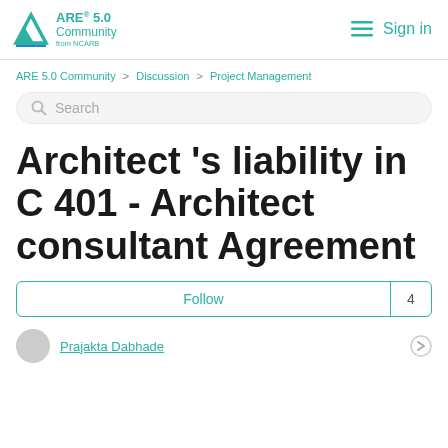ARE 5.0 Community from NCARB | Sign in
ARE 5.0 Community > Discussion > Project Management
Search
Architect 's liability in C 401 - Architect consultant Agreement
Follow  4
Prajakta Dabhade